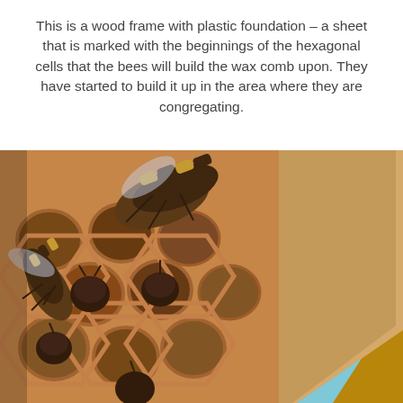This is a wood frame with plastic foundation – a sheet that is marked with the beginnings of the hexagonal cells that the bees will build the wax comb upon. They have started to build it up in the area where they are congregating.
[Figure (photo): Close-up photograph of honeybees on a honeycomb frame showing hexagonal wax cells, some open and some with dark bee heads visible, alongside a wooden frame edge and blue background.]